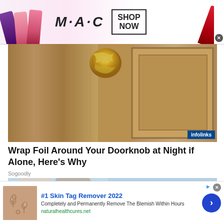[Figure (photo): MAC cosmetics advertisement banner with lipsticks on left, MAC logo in center, SHOP NOW box, and red lipstick on right]
[Figure (photo): Close-up photograph of a wooden door with aluminum foil wrapped around the doorknob, with infolinks badge in bottom right]
Wrap Foil Around Your Doorknob at Night if Alone, Here's Why
Sogoodly
[Figure (photo): Partial photo of two elderly people (heads visible) with infolinks badge overlay]
[Figure (photo): #1 Skin Tag Remover 2022 advertisement with skin close-up thumbnail, description text, and arrow button]
#1 Skin Tag Remover 2022
Completely and Permanently Remove The Blemish Within Hours
naturalhealthcures.net